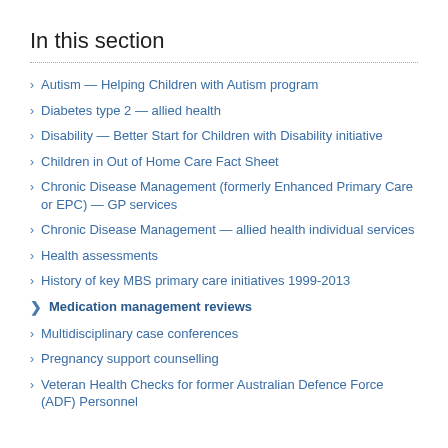In this section
Autism — Helping Children with Autism program
Diabetes type 2 — allied health
Disability — Better Start for Children with Disability initiative
Children in Out of Home Care Fact Sheet
Chronic Disease Management (formerly Enhanced Primary Care or EPC) — GP services
Chronic Disease Management — allied health individual services
Health assessments
History of key MBS primary care initiatives 1999-2013
Medication management reviews
Multidisciplinary case conferences
Pregnancy support counselling
Veteran Health Checks for former Australian Defence Force (ADF) Personnel